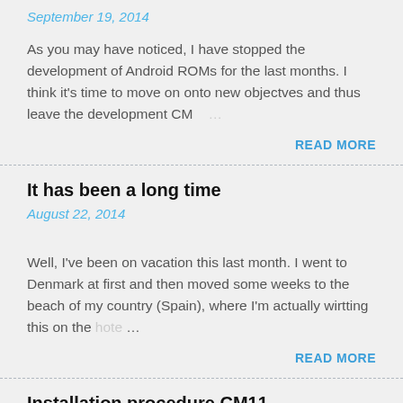September 19, 2014
As you may have noticed, I have stopped the development of Android ROMs for the last months. I think it's time to move on onto new objectves and thus leave the development CM …
READ MORE
It has been a long time
August 22, 2014
Well, I've been on vacation this last month. I went to Denmark at first and then moved some weeks to the beach of my country (Spain), where I'm actually wirtting this on the hote…
READ MORE
Installation procedure CM11